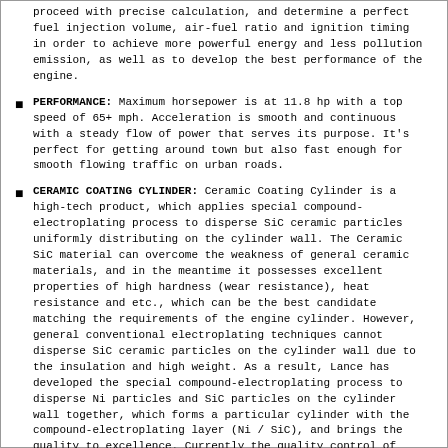proceed with precise calculation, and determine a perfect fuel injection volume, air-fuel ratio and ignition timing in order to achieve more powerful energy and less pollution emission, as well as to develop the best performance of the engine.
PERFORMANCE: Maximum horsepower is at 11.8 hp with a top speed of 65+ mph. Acceleration is smooth and continuous with a steady flow of power that serves its purpose. It's perfect for getting around town but also fast enough for smooth flowing traffic on urban roads.
CERAMIC COATING CYLINDER: Ceramic Coating Cylinder is a high-tech product, which applies special compound-electroplating process to disperse SiC ceramic particles uniformly distributing on the cylinder wall. The Ceramic SiC material can overcome the weakness of general ceramic materials, and in the meantime it possesses excellent properties of high hardness (wear resistance), heat resistance and etc., which can be the best candidate matching the requirements of the engine cylinder. However, general conventional electroplating techniques cannot disperse SiC ceramic particles on the cylinder wall due to the insulation and high weight. As a result, Lance has developed the special compound-electroplating process to disperse Ni particles and SiC particles on the cylinder wall together, which forms a particular cylinder with the compound-electroplating layer (Ni / SiC), and brings the quality to excellence. Currently the quality control of mass production has already maintained the defection rate below 0.3%, as the so since questioning slid